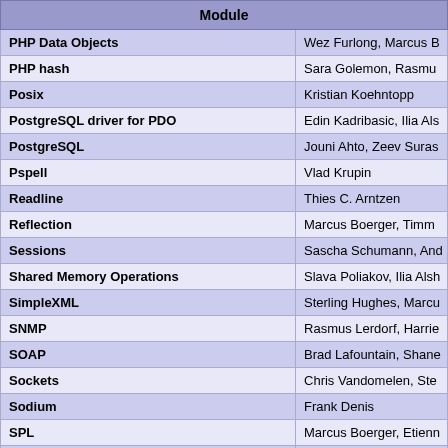| Module |  |
| --- | --- |
| PHP Data Objects | Wez Furlong, Marcus B |
| PHP hash | Sara Golemon, Rasmu |
| Posix | Kristian Koehntopp |
| PostgreSQL driver for PDO | Edin Kadribasic, Ilia Als |
| PostgreSQL | Jouni Ahto, Zeev Suras |
| Pspell | Vlad Krupin |
| Readline | Thies C. Arntzen |
| Reflection | Marcus Boerger, Timm |
| Sessions | Sascha Schumann, And |
| Shared Memory Operations | Slava Poliakov, Ilia Alsh |
| SimpleXML | Sterling Hughes, Marcu |
| SNMP | Rasmus Lerdorf, Harrie |
| SOAP | Brad Lafountain, Shane |
| Sockets | Chris Vandomelen, Ste |
| Sodium | Frank Denis |
| SPL | Marcus Boerger, Etienn |
| SQLite 3.x driver for PDO | Wez Furlong |
| SQLite3 | Scott MacVicar, Ilia Alsh |
| System V Message based IPC | Wez Furlong |